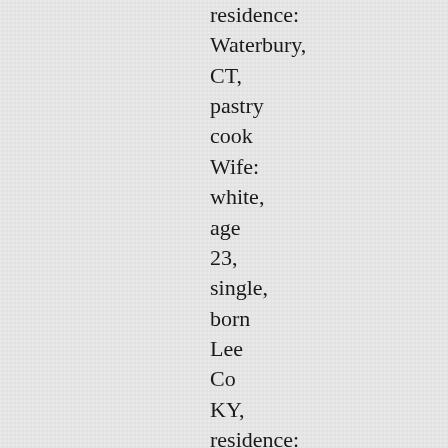residence: Waterbury, CT, pastry cook Wife: white, age 23, single, born Lee Co KY, residence: Fincastle, KY Husband's parents: George Schindler &